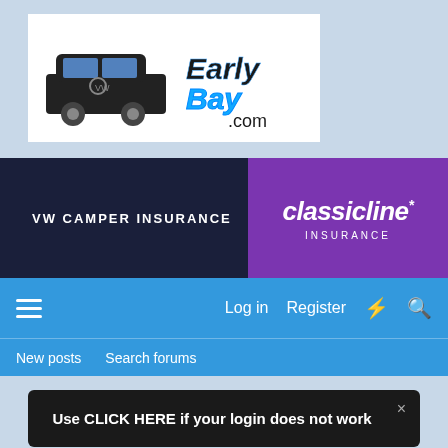[Figure (logo): EarlyBay.com logo with VW camper van illustration and stylized Early Bay text]
[Figure (infographic): VW Camper Insurance advertisement banner: dark navy left side with VW CAMPER INSURANCE text, purple right side with classicline* INSURANCE logo]
Log in   Register   [lightning icon]   [search icon]
New posts   Search forums
Use CLICK HERE if your login does not work
< Technical
Ignition barrel removal